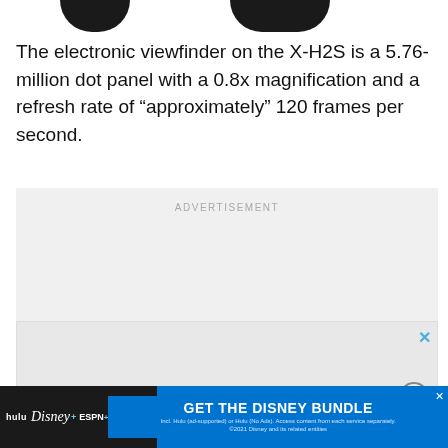[Figure (photo): Partial cropped view of camera equipment, showing dark rounded shapes at top of page]
The electronic viewfinder on the X-H2S is a 5.76-million dot panel with a 0.8x magnification and a refresh rate of “approximately” 120 frames per second.
[Figure (other): Advertisement placeholder area with light grey background and ADVERTISEMENT label. Contains a nested ad unit with close button. A Disney Bundle banner ad appears at the bottom with Hulu, Disney+, ESPN+ logos and GET THE DISNEY BUNDLE call to action.]